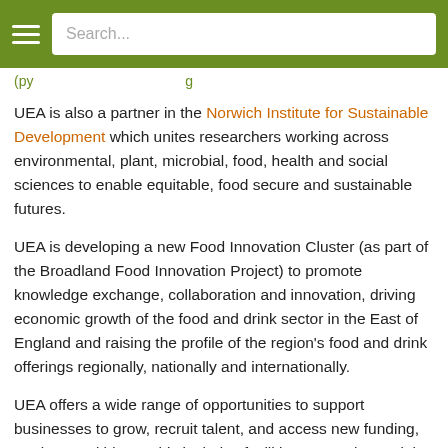Search...
(partial text clipped at top)
UEA is also a partner in the Norwich Institute for Sustainable Development which unites researchers working across environmental, plant, microbial, food, health and social sciences to enable equitable, food secure and sustainable futures.
UEA is developing a new Food Innovation Cluster (as part of the Broadland Food Innovation Project) to promote knowledge exchange, collaboration and innovation, driving economic growth of the food and drink sector in the East of England and raising the profile of the region's food and drink offerings regionally, nationally and internationally.
UEA offers a wide range of opportunities to support businesses to grow, recruit talent, and access new funding, markets and ideas. This includes facilities, networks, and the